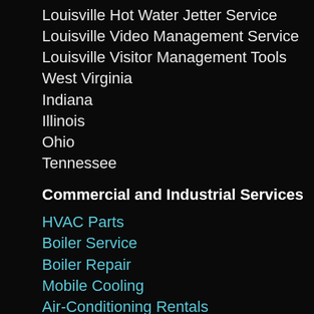Louisville Hot Water Jetter Service
Louisville Video Management Service
Louisville Visitor Management Tools
West Virginia
Indiana
Illinois
Ohio
Tennessee
Commercial and Industrial Services
HVAC Parts
Boiler Service
Boiler Repair
Mobile Cooling
Air-Conditioning Rentals
Chiller Rentals
Chiller Rental